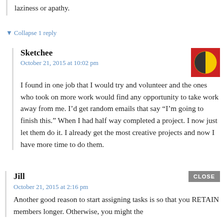laziness or apathy.
▼ Collapse 1 reply
Sketchee
October 21, 2015 at 10:02 pm
[Figure (illustration): Red square avatar with a yellow circle/half-moon face icon]
I found in one job that I would try and volunteer and the ones who took on more work would find any opportunity to take work away from me. I’d get random emails that say “I’m going to finish this.” When I had half way completed a project. I now just let them do it. I already get the most creative projects and now I have more time to do them.
Jill
CLOSE
October 21, 2015 at 2:16 pm
Another good reason to start assigning tasks is so that you RETAIN members longer. Otherwise, you might the